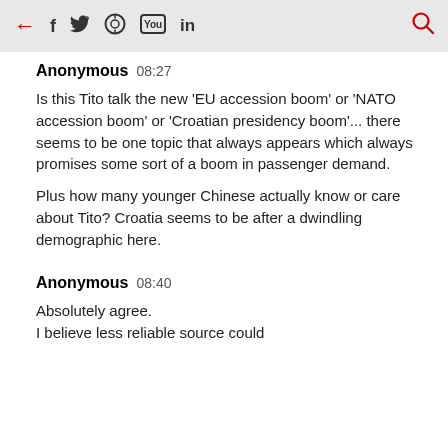← f 🐦 ⊙ ▶ in 🔍
Anonymous 08:27

Is this Tito talk the new 'EU accession boom' or 'NATO accession boom' or 'Croatian presidency boom'... there seems to be one topic that always appears which always promises some sort of a boom in passenger demand.

Plus how many younger Chinese actually know or care about Tito? Croatia seems to be after a dwindling demographic here.
Anonymous 08:40

Absolutely agree.
I believe less reliable source could not be chosen for a topic like...